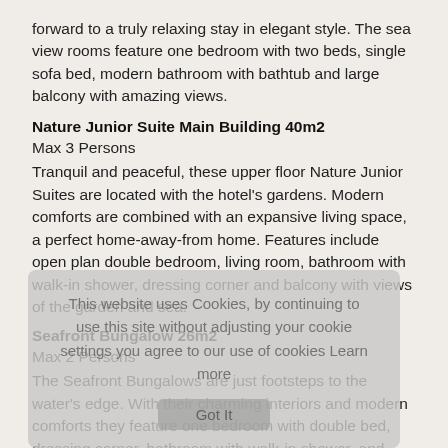forward to a truly relaxing stay in elegant style. The sea view rooms feature one bedroom with two beds, single sofa bed, modern bathroom with bathtub and large balcony with amazing views.
Nature Junior Suite Main Building 40m2
Max 3 Persons
Tranquil and peaceful, these upper floor Nature Junior Suites are located with the hotel's gardens. Modern comforts are combined with an expansive living space, a perfect home-away-from home. Features include open plan double bedroom, living room, bathroom with walk-in shower, dressing corner and balcony with views of the garden and sea.
Seafront Bungalow 26m2
Max 2 Persons
The Seafront Bungalows are just footsteps to the water's edge. With their charming interiors and modern comforts they feature one bedroom with double bed, dressing corner, bathroom with walk-in shower, and spacious furnished terrace with sea views.
Superior Sea View Bungalow 40-45m2